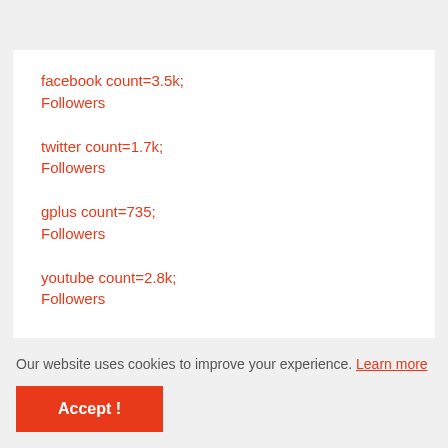facebook count=3.5k;
Followers
twitter count=1.7k;
Followers
gplus count=735;
Followers
youtube count=2.8k;
Followers
Our website uses cookies to improve your experience. Learn more
Accept !